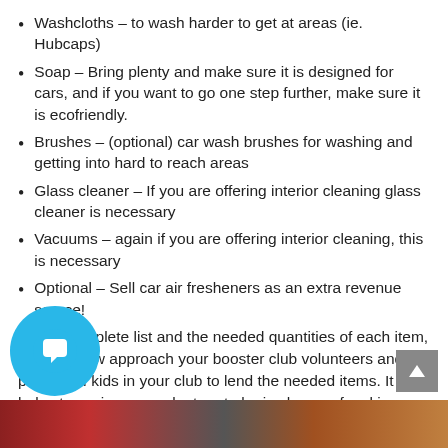Washcloths – to wash harder to get at areas (ie. Hubcaps)
Soap – Bring plenty and make sure it is designed for cars, and if you want to go one step further, make sure it is ecofriendly.
Brushes – (optional) car wash brushes for washing and getting into hard to reach areas
Glass cleaner – If you are offering interior cleaning glass cleaner is necessary
Vacuums – again if you are offering interior cleaning, this is necessary
Optional – Sell car air fresheners as an extra revenue source!
With a complete list and the needed quantities of each item, you can now approach your booster club volunteers and parents of kids in your club to lend the needed items. It helps to assign one volunteer to be in charge of making sure that all items are covered for the event and that those items arrive for the event and are given back to the proper club lender. Between all of the booster club volunteers and parents, there should be ample items to cover the car wash.  In the event there is a shortfall, the club may have to purchase some limited items.
[Figure (photo): Bottom image strip showing a car wash scene, partially visible at the bottom of the page. Also includes a teal/blue circular chat button overlay and a gray scroll-to-top button.]